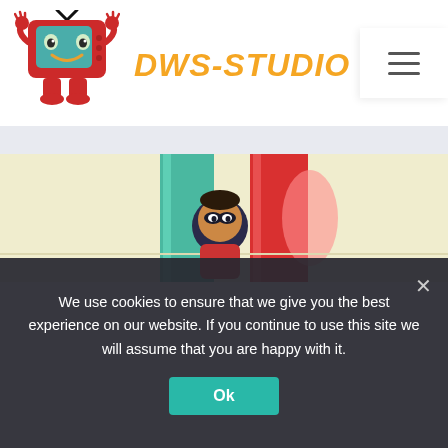[Figure (logo): DWS-Studio logo: cartoon TV character mascot with arms raised and smiling, next to bold italic orange text 'DWS-STUDIO']
[Figure (illustration): Animation screenshot showing a character in a hallway with teal and red colored panels, peek-a-boo scene]
We use cookies to ensure that we give you the best experience on our website. If you continue to use this site we will assume that you are happy with it.